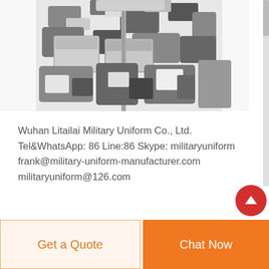[Figure (photo): Partial view of a camouflage military jacket/BDU shirt in urban/snow camo pattern (grey, white, black), showing the front chest area with pockets and zipper, cropped at top]
Wuhan Litailai Military Uniform Co., Ltd. Tel&WhatsApp: 86 Line:86 Skype: militaryuniform frank@military-uniform-manufacturer.com militaryuniform@126.com
Get a Quote
Chat Now